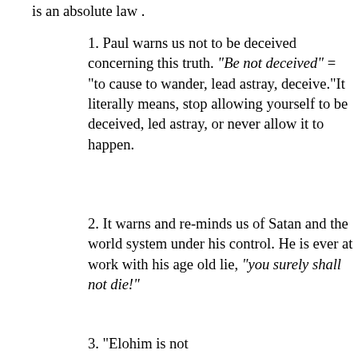is an absolute law .
1. Paul warns us not to be deceived concerning this truth. "Be not deceived" = "to cause to wander, lead astray, deceive."It literally means, stop allowing yourself to be deceived, led astray, or never allow it to happen.
2. It warns and re-minds us of Satan and the world system under his control. He is ever at work with his age old lie, "you surely shall not die!"
3. "Elohim is not...